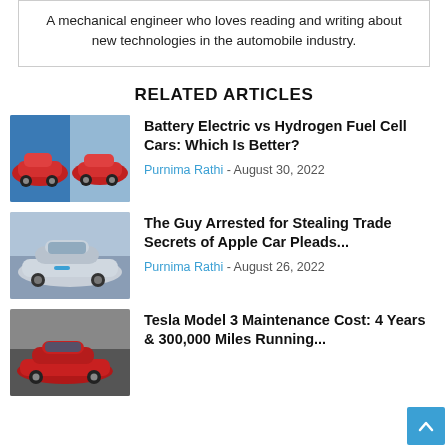A mechanical engineer who loves reading and writing about new technologies in the automobile industry.
RELATED ARTICLES
[Figure (photo): Thumbnail image of two cars facing each other (red sports car and red Tesla-like car) for article about Battery Electric vs Hydrogen Fuel Cell Cars]
Battery Electric vs Hydrogen Fuel Cell Cars: Which Is Better?
Purnima Rathi - August 30, 2022
[Figure (photo): Thumbnail image of a silver futuristic electric car for article about The Guy Arrested for Stealing Trade Secrets of Apple Car]
The Guy Arrested for Stealing Trade Secrets of Apple Car Pleads...
Purnima Rathi - August 26, 2022
[Figure (photo): Thumbnail image of a red Tesla car for article about Tesla Model 3 Maintenance Cost]
Tesla Model 3 Maintenance Cost: 4 Years & 300,000 Miles Running...